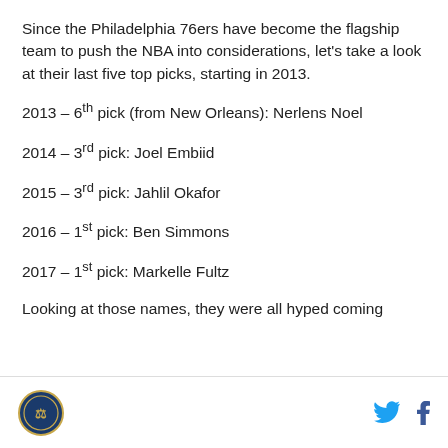Since the Philadelphia 76ers have become the flagship team to push the NBA into considerations, let's take a look at their last five top picks, starting in 2013.
2013 – 6th pick (from New Orleans): Nerlens Noel
2014 – 3rd pick: Joel Embiid
2015 – 3rd pick: Jahlil Okafor
2016 – 1st pick: Ben Simmons
2017 – 1st pick: Markelle Fultz
Looking at those names, they were all hyped coming